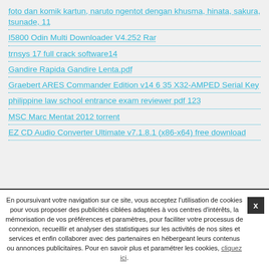foto dan komik kartun, naruto ngentot dengan khusma, hinata, sakura, tsunade, 11
I5800 Odin Multi Downloader V4.252 Rar
trnsys 17 full crack software14
Gandire Rapida Gandire Lenta.pdf
Graebert ARES Commander Edition v14 6 35 X32-AMPED Serial Key
philippine law school entrance exam reviewer pdf 123
MSC Marc Mentat 2012 torrent
EZ CD Audio Converter Ultimate v7.1.8.1 (x86-x64) free download
En poursuivant votre navigation sur ce site, vous acceptez l'utilisation de cookies pour vous proposer des publicités ciblées adaptées à vos centres d'intérêts, la mémorisation de vos préférences et paramètres, pour faciliter votre processus de connexion, recueillir et analyser des statistiques sur les activités de nos sites et services et enfin collaborer avec des partenaires en hébergeant leurs contenus ou annonces publicitaires. Pour en savoir plus et paramétrer les cookies, cliquez ici.